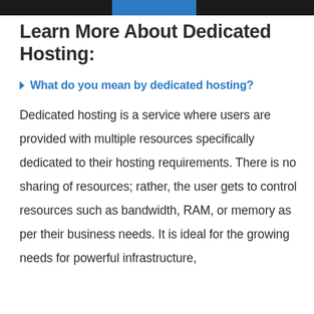Learn More About Dedicated Hosting:
What do you mean by dedicated hosting?
Dedicated hosting is a service where users are provided with multiple resources specifically dedicated to their hosting requirements. There is no sharing of resources; rather, the user gets to control resources such as bandwidth, RAM, or memory as per their business needs. It is ideal for the growing needs for powerful infrastructure,